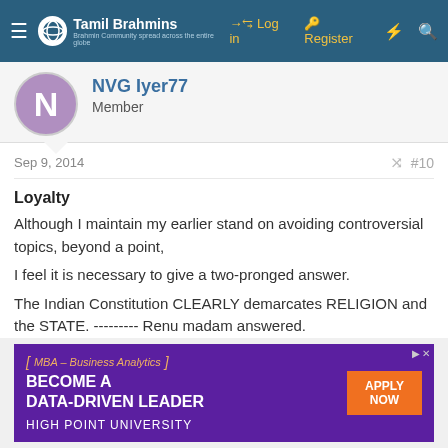Tamil Brahmins — Log in  Register
NVG Iyer77
Member
Sep 9, 2014  #10
Loyalty
Although I maintain my earlier stand on avoiding controversial topics, beyond a point,
I feel it is necessary to give a two-pronged answer.
The Indian Constitution CLEARLY demarcates RELIGION and the STATE. --------- Renu madam answered.
[Figure (screenshot): Advertisement banner for High Point University MBA in Business Analytics: 'BECOME A DATA-DRIVEN LEADER' with orange 'APPLY NOW' button]